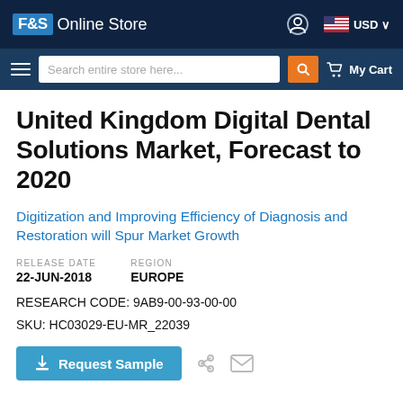F&S Online Store | USD | My Cart
United Kingdom Digital Dental Solutions Market, Forecast to 2020
Digitization and Improving Efficiency of Diagnosis and Restoration will Spur Market Growth
RELEASE DATE: 22-JUN-2018 | REGION: EUROPE
RESEARCH CODE: 9AB9-00-93-00-00
SKU: HC03029-EU-MR_22039
Request Sample